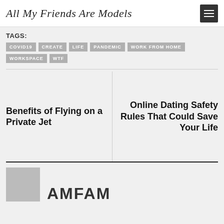All My Friends Are Models
TAGS:
COVID19
CREATE
LIFE
PANDEMIC
WORK FROM HOME
WORKSPACE
WTF
Benefits of Flying on a Private Jet
Online Dating Safety Rules That Could Save Your Life
AMFAM